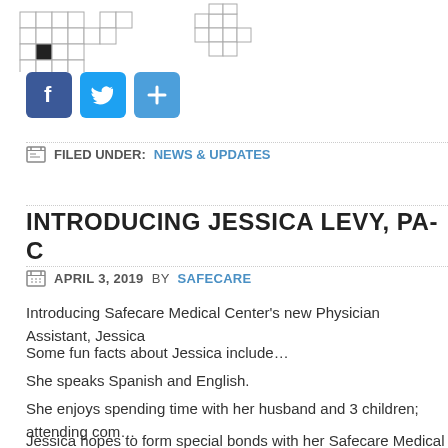[Figure (illustration): Partial crossword puzzle grid at the top of the page]
[Figure (illustration): Social sharing icons: Facebook (blue f), Twitter (blue bird), and a blue plus/share button]
FILED UNDER: NEWS & UPDATES
INTRODUCING JESSICA LEVY, PA-C
APRIL 3, 2019 BY SAFECARE
Introducing Safecare Medical Center's new Physician Assistant, Jessica
Some fun facts about Jessica include…
She speaks Spanish and English.
She enjoys spending time with her husband and 3 children; attending com… museums.
Jessica hopes to form special bonds with her Safecare Medical Center te… all happy and healthy!